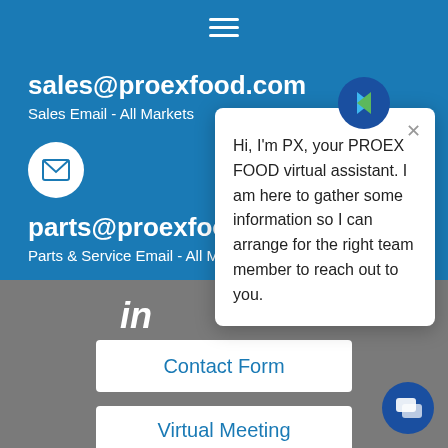[Figure (screenshot): Hamburger menu icon (three horizontal white lines) centered at top of blue header]
sales@proexfood.com
Sales Email - All Markets
[Figure (logo): White envelope icon in white circle on blue background]
parts@proexfood.com
Parts & Service Email - All Markets
[Figure (logo): LinkedIn 'in' icon in white on gray background]
[Figure (infographic): Chat popup with PX logo showing: Hi, I'm PX, your PROEX FOOD virtual assistant. I am here to gather some information so I can arrange for the right team member to reach out to you.]
Contact Form
Virtual Meeting